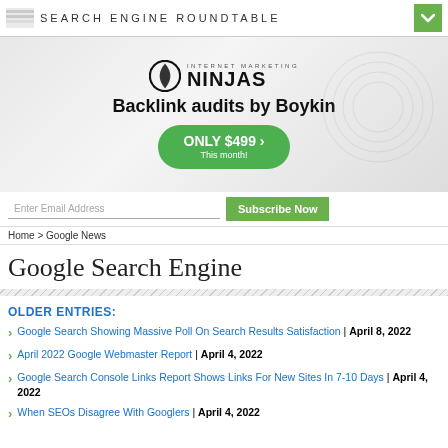SEARCH ENGINE ROUNDTABLE
[Figure (advertisement): Internet Marketing Ninjas ad banner: Backlink audits by Boykin, ONLY $499 This month!]
Enter Email Address
Subscribe Now
Home > Google News
Google Search Engine
OLDER ENTRIES:
Google Search Showing Massive Poll On Search Results Satisfaction | April 8, 2022
April 2022 Google Webmaster Report | April 4, 2022
Google Search Console Links Report Shows Links For New Sites In 7-10 Days | April 4, 2022
When SEOs Disagree With Googlers | April 4, 2022